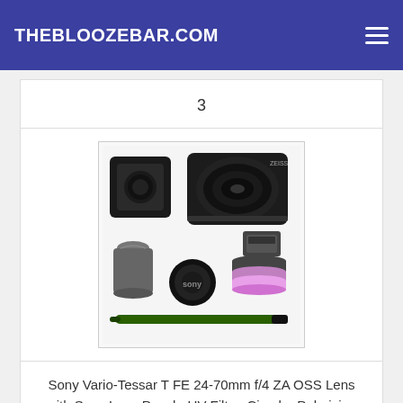THEBLOOZEBAR.COM
3
[Figure (photo): Sony Vario-Tessar T FE 24-70mm f/4 ZA OSS Lens kit with lens pouch, UV filter, circular polarizing filter, fluorescent day filter, lens hood, front and rear caps, and a lens cleaning pen.]
Sony Vario-Tessar T FE 24-70mm f/4 ZA OSS Lens with Sony Lens Pouch, UV Filter, Circular Polarizing Filter, Fluorescent Day Filter, Sony Lens Hood, Front & Rear Caps - International Version